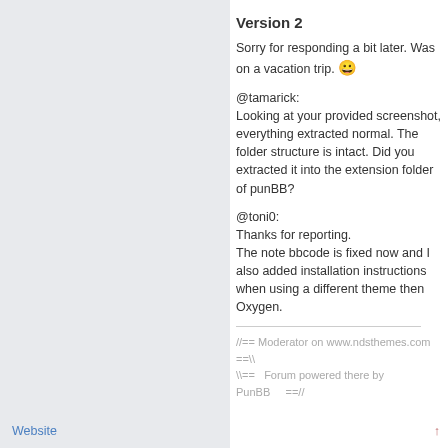Version 2
Sorry for responding a bit later. Was on a vacation trip. 😀
@tamarick:
Looking at your provided screenshot, everything extracted normal. The folder structure is intact. Did you extracted it into the extension folder of punBB?
@toni0:
Thanks for reporting.
The note bbcode is fixed now and I also added installation instructions when using a different theme then Oxygen.
//== Moderator on www.ndsthemes.com ==\\
\\==   Forum powered there by PunBB      ==//
Website
↑